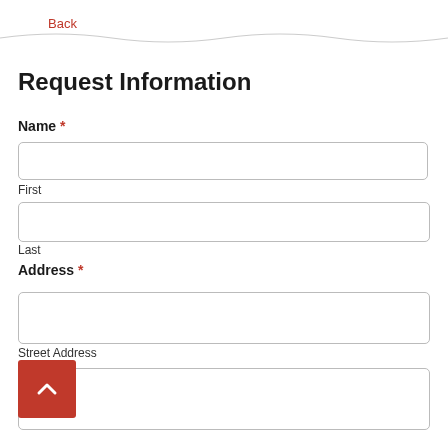Back
Request Information
Name *
First
Last
Address *
Street Address
[Figure (other): Red scroll-to-top button with upward chevron arrow]